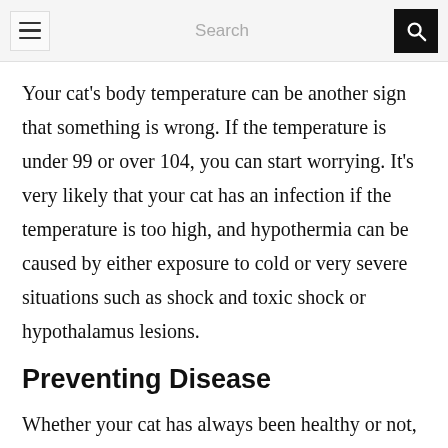Search
Your cat's body temperature can be another sign that something is wrong. If the temperature is under 99 or over 104, you can start worrying. It's very likely that your cat has an infection if the temperature is too high, and hypothermia can be caused by either exposure to cold or very severe situations such as shock and toxic shock or hypothalamus lesions.
Preventing Disease
Whether your cat has always been healthy or not, it's a good idea to go to the vet's once a